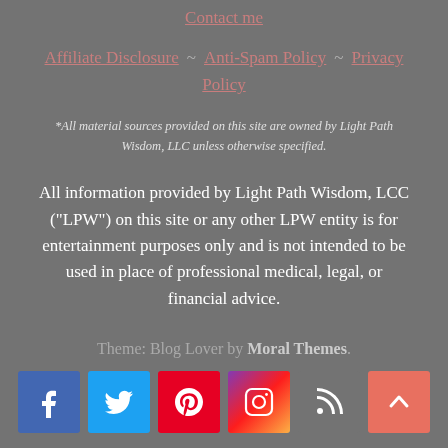Contact me
Affiliate Disclosure ~ Anti-Spam Policy ~ Privacy Policy
*All material sources provided on this site are owned by Light Path Wisdom, LLC unless otherwise specified.
All information provided by Light Path Wisdom, LCC ("LPW") on this site or any other LPW entity is for entertainment purposes only and is not intended to be used in place of professional medical, legal, or financial advice.
Theme: Blog Lover by Moral Themes.
[Figure (other): Social media icons: Facebook, Twitter, Pinterest, Instagram, RSS feed, and scroll-to-top arrow button]